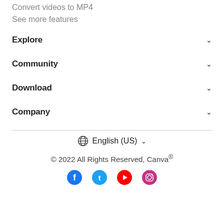Convert videos to MP4
See more features
Explore
Community
Download
Company
English (US)
© 2022 All Rights Reserved, Canva®